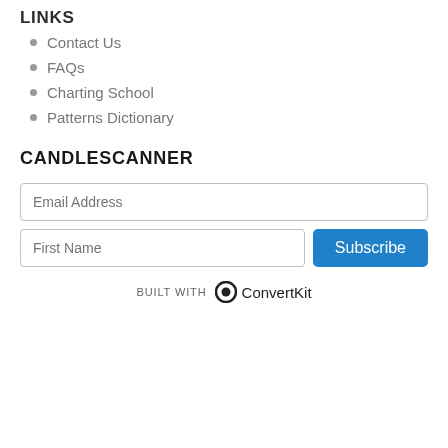LINKS
Contact Us
FAQs
Charting School
Patterns Dictionary
CANDLESCANNER
Email Address (input field)
First Name (input field)
Subscribe (button)
BUILT WITH ConvertKit